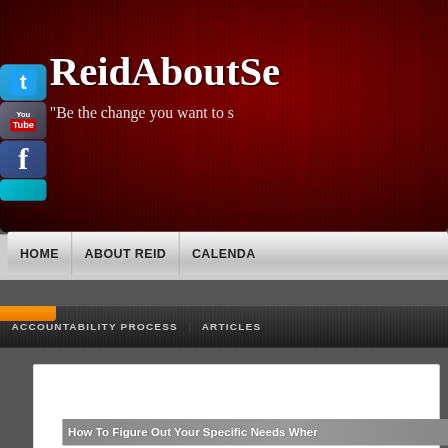[Figure (screenshot): Website header with dark red background showing 'ReidAboutSe...' site title, social media icons (Twitter, YouTube, Facebook, cyan icon) on left side, tagline 'Be the change you want to s...']
ReidAboutSe...
"Be the change you want to s..."
HOME | ABOUT REID | CALENDA...
ACCOUNTABILITY PROCESS | ARTICLES
How To Figure Out Your Specific Needs Wher...